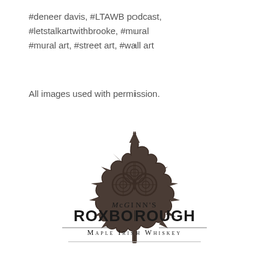#deneer davis, #LTAWB podcast, #letstalkartwithbrooke, #mural
#mural art, #street art, #wall art
All images used with permission.
[Figure (logo): McGinn's Roxborough Maple Irish Whiskey logo: a dark brown maple leaf with a Celtic shamrock embossed in the center, with text 'McGINN's ROXBOROUGH Maple Irish Whiskey' below]